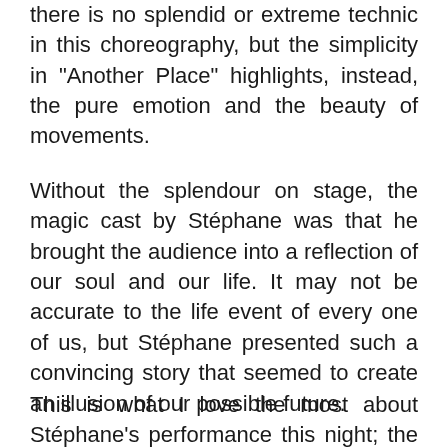there is no splendid or extreme technic in this choreography, but the simplicity in "Another Place" highlights, instead, the pure emotion and the beauty of movements.
Without the splendour on stage, the magic cast by Stéphane was that he brought the audience into a reflection of our soul and our life. It may not be accurate to the life event of every one of us, but Stéphane presented such a convincing story that seemed to create an illusion of our possible future.
This is what I love the most about Stéphane's performance this night; the extension of his body seems to